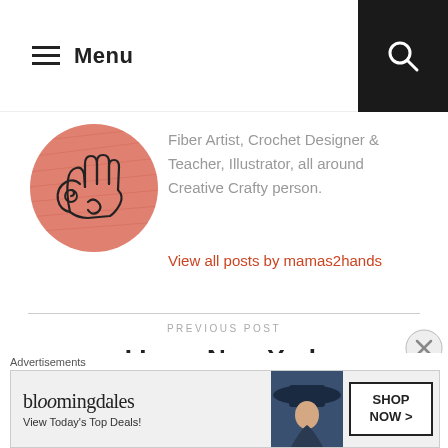Menu
[Figure (illustration): Circular logo with hand drawing and snail motif on pinkish-red background]
Fiber Artist, Crochet Designer & Teacher, Illustrator, all around Creative Crafty person.
View all posts by mamas2hands
PREVIOUS POST
I Love New York
[Figure (photo): Bloomingdales advertisement banner showing woman in wide-brim hat with SHOP NOW text]